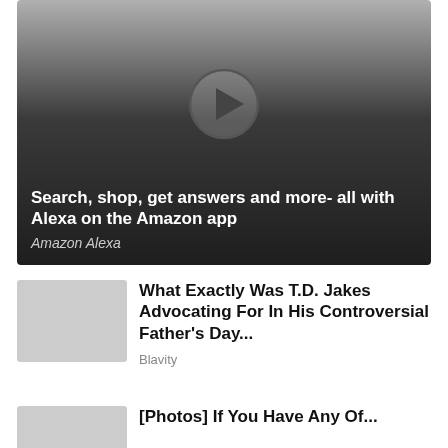[Figure (screenshot): Video thumbnail with gradient background (light gray to dark), a circular play button in the center, and white text overlay at the bottom reading 'Search, shop, get answers and more- all with Alexa on the Amazon app' with source 'Amazon Alexa' in italic.]
What Exactly Was T.D. Jakes Advocating For In His Controversial Father's Day...
Blavity
[Photos] If You Have Any Of...